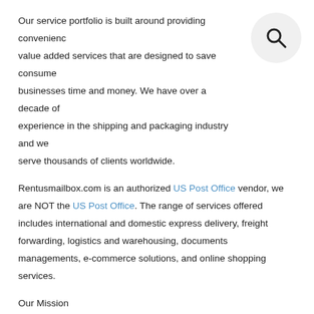Our service portfolio is built around providing convenience value added services that are designed to save consumers businesses time and money. We have over a decade of experience in the shipping and packaging industry and we serve thousands of clients worldwide.
Rentusmailbox.com is an authorized US Post Office vendor, we are NOT the US Post Office. The range of services offered includes international and domestic express delivery, freight forwarding, logistics and warehousing, documents managements, e-commerce solutions, and online shopping services.
Our Mission
To continue to be recognized as one of the leading Mail Forwarding and global logistics company in the US.